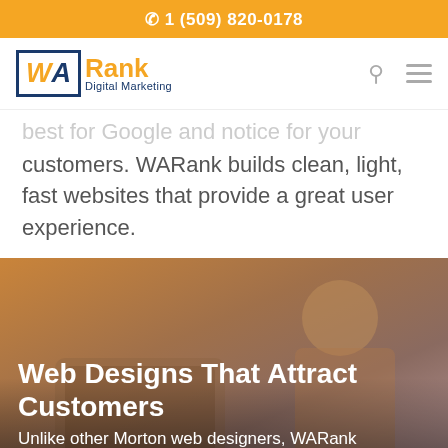✆ 1 (509) 820-0178
[Figure (logo): WARank Digital Marketing logo with blue and orange text]
best for Google and notice for your customers. WARank builds clean, light, fast websites that provide a great user experience.
[Figure (photo): Person using a tablet device, warm orange/brown toned background photo]
Web Designs That Attract Customers
Unlike other Morton web designers, WARank